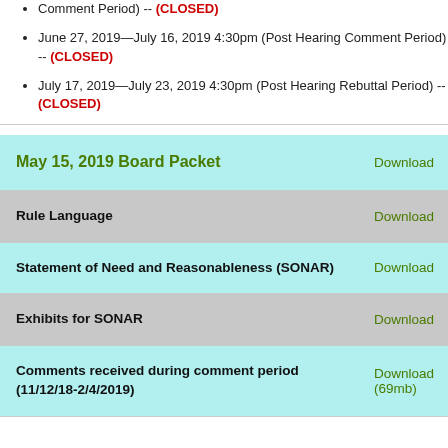Comment Period) -- (CLOSED)
June 27, 2019—July 16, 2019 4:30pm (Post Hearing Comment Period) -- (CLOSED)
July 17, 2019—July 23, 2019 4:30pm (Post Hearing Rebuttal Period) -- (CLOSED)
May 15, 2019 Board Packet | Download
Rule Language | Download
Statement of Need and Reasonableness (SONAR) | Download
Exhibits for SONAR | Download
Comments received during comment period (11/12/18-2/4/2019) (69mb) | Download